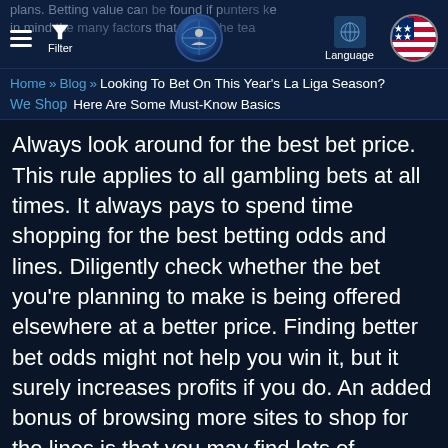plans. Betting value can be found if punters keep in mind the many factors that affect the team performance
Filter | Language
Home » Blog » Looking To Bet On This Year's La Liga Season? Here Are Some Must-Know Basics
Always look around for the best bet price. This rule applies to all gambling bets at all times. It always pays to spend time shopping for the best betting odds and lines. Diligently check whether the bet you're planning to make is being offered elsewhere at a better price. Finding better bet odds might not help you win it, but it surely increases profits if you do. An added bonus of browsing more sites to shop for the lines is that you may find lots of promotions and bonuses too.
Moreover, it helps you be aware because odds